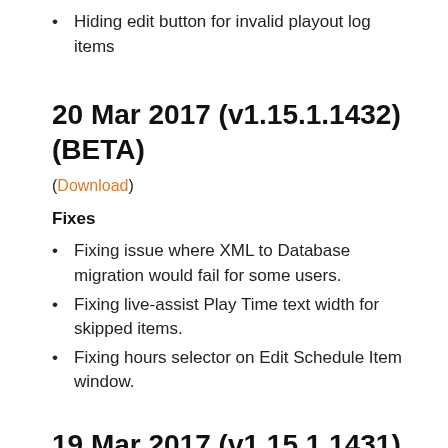Hiding edit button for invalid playout log items
20 Mar 2017 (v1.15.1.1432) (BETA)
(Download)
Fixes
Fixing issue where XML to Database migration would fail for some users.
Fixing live-assist Play Time text width for skipped items.
Fixing hours selector on Edit Schedule Item window.
19 Mar 2017 (v1.15.1.1431) (BETA)